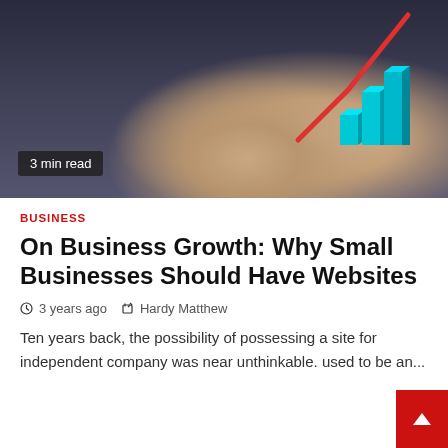[Figure (photo): Hands holding a glowing 3D bar chart with a red growth arrow, dark stormy sky background. Badge reads '3 min read'.]
BUSINESS
On Business Growth: Why Small Businesses Should Have Websites
3 years ago  Hardy Matthew
Ten years back, the possibility of possessing a site for independent company was near unthinkable. used to be an...